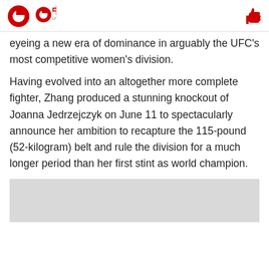中国网 china.org.cn
eyeing a new era of dominance in arguably the UFC's most competitive women's division.
Having evolved into an altogether more complete fighter, Zhang produced a stunning knockout of Joanna Jedrzejczyk on June 11 to spectacularly announce her ambition to recapture the 115-pound (52-kilogram) belt and rule the division for a much longer period than her first stint as world champion.
[Figure (photo): Gray placeholder box at the bottom of the page]